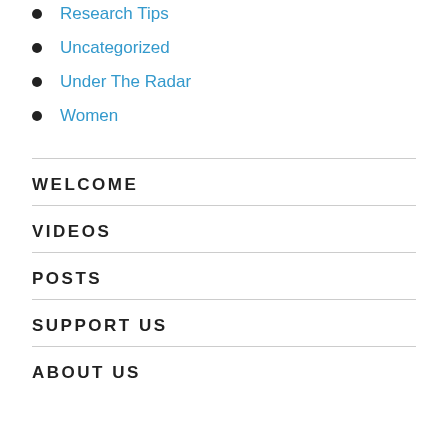Research Tips
Uncategorized
Under The Radar
Women
WELCOME
VIDEOS
POSTS
SUPPORT US
ABOUT US